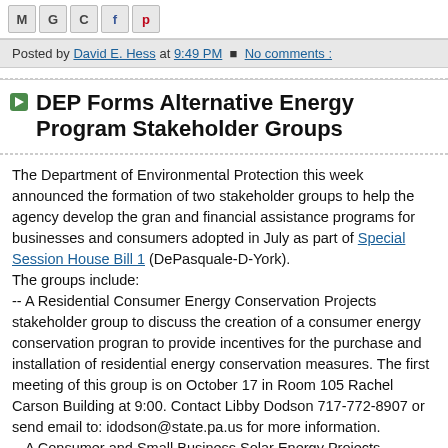[Social share icons: M, G, C, f, p]
Posted by David E. Hess at 9:49 PM  No comments :
DEP Forms Alternative Energy Program Stakeholder Groups
The Department of Environmental Protection this week announced the formation of two stakeholder groups to help the agency develop the grant and financial assistance programs for businesses and consumers adopted in July as part of Special Session House Bill 1 (DePasquale-D-York).
The groups include:
-- A Residential Consumer Energy Conservation Projects stakeholder group to discuss the creation of a consumer energy conservation program to provide incentives for the purchase and installation of residential energy conservation measures. The first meeting of this group is on October 17 in Room 105 Rachel Carson Building at 9:00. Contact Libby Dodson 717-772-8907 or send email to: idodson@state.pa.us for more information.
-- A Consumer and Small Business Solar Energy Projects Stakeholder group to discuss creation of a loan, grant, reimbursement or rebate program for solar energy projects. The first meeting of this group is on October 27 in Room 105 Rachel Carson Building at 9:00. Contact